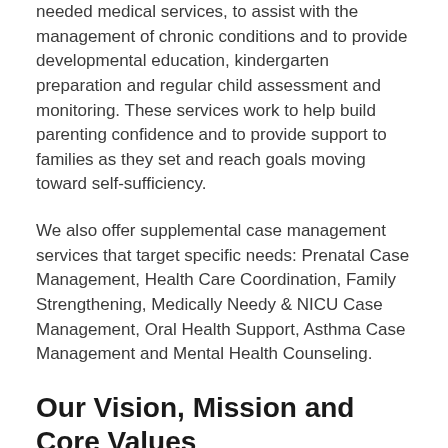needed medical services, to assist with the management of chronic conditions and to provide developmental education, kindergarten preparation and regular child assessment and monitoring. These services work to help build parenting confidence and to provide support to families as they set and reach goals moving toward self-sufficiency.
We also offer supplemental case management services that target specific needs: Prenatal Case Management, Health Care Coordination, Family Strengthening, Medically Needy & NICU Case Management, Oral Health Support, Asthma Case Management and Mental Health Counseling.
Our Vision, Mission and Core Values
Vision: Every child will have equal access to health care and enter school ready to learn.